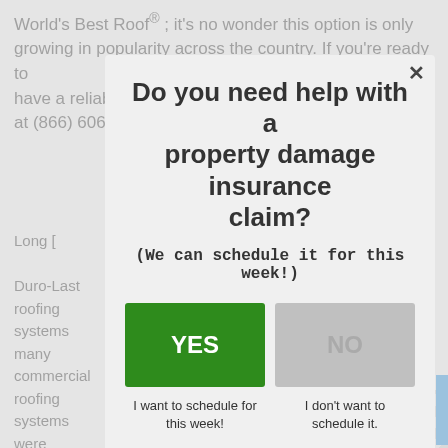World's Best Roof®; it's no wonder this option is only growing in popularity across the country. If you're ready to have a reliable roof atop your building, call Incore today at (866) 606 – 0009.
Long [...]
Duro-Last roofing systems many commercial roofing systems were designed to keep things protected for
Do you need help with a property damage insurance claim?
(We can schedule it for this week!)
YES
NO
I want to schedule for this week!
I don't want to schedule it.